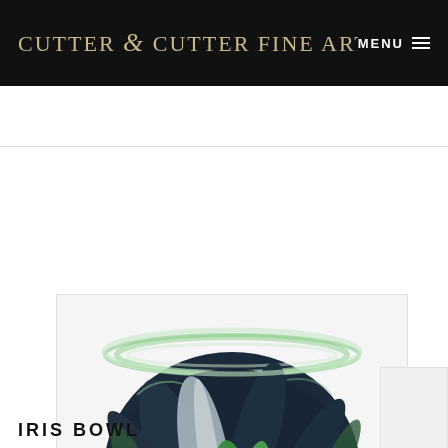CUTTER & CUTTER FINE ART GALL   MENU
[Figure (photo): A round glass art bowl with embedded floral and leaf decorations in dark blue, green, white, and yellow on a white background, with a 'Tap to expand' overlay button]
IRIS BOWL